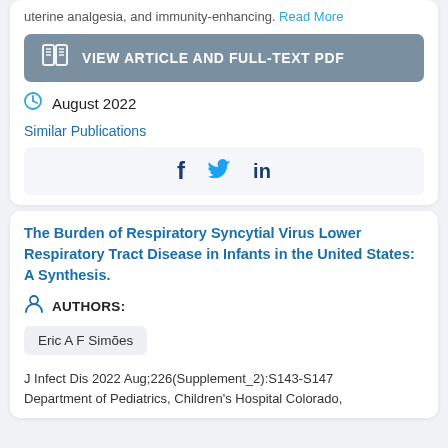uterine analgesia, and immunity-enhancing. Read More
[Figure (other): VIEW ARTICLE AND FULL-TEXT PDF button with book icon]
August 2022
Similar Publications
[Figure (other): Social share bar with Facebook, Twitter, LinkedIn icons]
The Burden of Respiratory Syncytial Virus Lower Respiratory Tract Disease in Infants in the United States: A Synthesis.
AUTHORS:
Eric A F Simões
J Infect Dis 2022 Aug;226(Supplement_2):S143-S147 Department of Pediatrics, Children's Hospital Colorado,